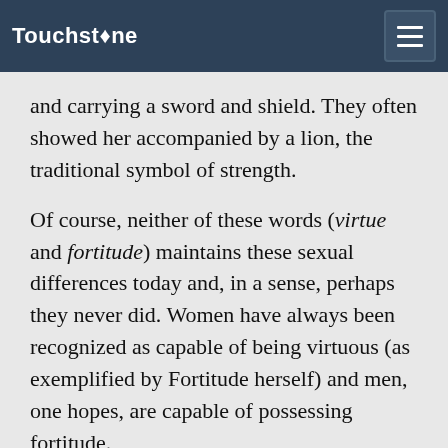Touchstone
and carrying a sword and shield. They often showed her accompanied by a lion, the traditional symbol of strength.
Of course, neither of these words (virtue and fortitude) maintains these sexual differences today and, in a sense, perhaps they never did. Women have always been recognized as capable of being virtuous (as exemplified by Fortitude herself) and men, one hopes, are capable of possessing fortitude.